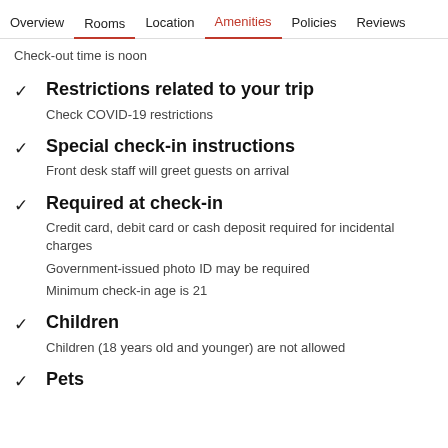Overview  Rooms  Location  Amenities  Policies  Reviews
Check-out time is noon
Restrictions related to your trip
Check COVID-19 restrictions
Special check-in instructions
Front desk staff will greet guests on arrival
Required at check-in
Credit card, debit card or cash deposit required for incidental charges
Government-issued photo ID may be required
Minimum check-in age is 21
Children
Children (18 years old and younger) are not allowed
Pets